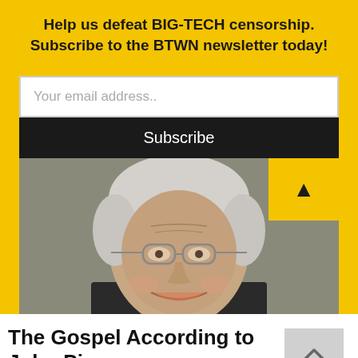Help us defeat BIG-TECH censorship. Subscribe to the BTWN newsletter today!
Your email address..
Subscribe
[Figure (photo): Portrait photo of an elderly man with white hair and glasses, smiling, wearing a dark jacket, against a grey background]
The Gospel According to John Piper
Tim Shaughnessy, October 10, 2017, ,